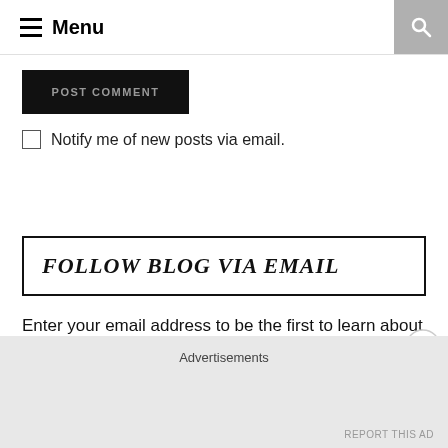Menu
POST COMMENT
Notify me of new posts via email.
FOLLOW BLOG VIA EMAIL
Enter your email address to be the first to learn about Broadway news and announcements, read opening night reviews, and hear gossip and buzz!
Advertisements